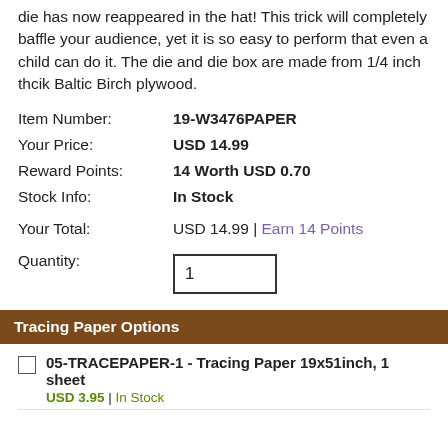die has now reappeared in the hat! This trick will completely baffle your audience, yet it is so easy to perform that even a child can do it. The die and die box are made from 1/4 inch thcik Baltic Birch plywood.
| Item Number: | 19-W3476PAPER |
| Your Price: | USD 14.99 |
| Reward Points: | 14 Worth USD 0.70 |
| Stock Info: | In Stock |
| Your Total: | USD 14.99 | Earn 14 Points |
| Quantity: | 1 |
Tracing Paper Options
05-TRACEPAPER-1 - Tracing Paper 19x51inch, 1 sheet
USD 3.95 | In Stock